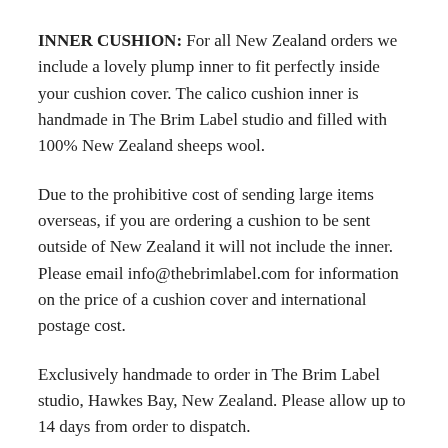INNER CUSHION: For all New Zealand orders we include a lovely plump inner to fit perfectly inside your cushion cover. The calico cushion inner is handmade in The Brim Label studio and filled with 100% New Zealand sheeps wool.
Due to the prohibitive cost of sending large items overseas, if you are ordering a cushion to be sent outside of New Zealand it will not include the inner. Please email info@thebrimlabel.com for information on the price of a cushion cover and international postage cost.
Exclusively handmade to order in The Brim Label studio, Hawkes Bay, New Zealand. Please allow up to 14 days from order to dispatch.